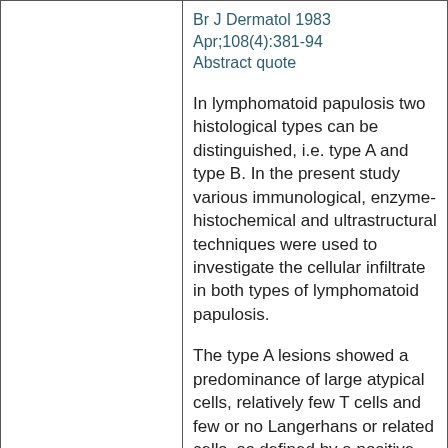Br J Dermatol 1983 Apr;108(4):381-94 Abstract quote
In lymphomatoid papulosis two histological types can be distinguished, i.e. type A and type B. In the present study various immunological, enzyme-histochemical and ultrastructural techniques were used to investigate the cellular infiltrate in both types of lymphomatoid papulosis.
The type A lesions showed a predominance of large atypical cells, relatively few T cells and few or no Langerhans or related cells, as defined by a positive staining for OKT6 and M241.
Immunological